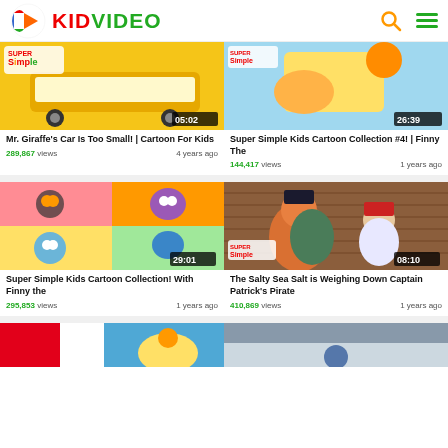KIDVIDEO
[Figure (screenshot): Video thumbnail: Mr. Giraffe's Car Is Too Small cartoon, yellow school bus, Super Simple logo, duration 05:02]
Mr. Giraffe's Car Is Too Small! | Cartoon For Kids
289,867 views  4 years ago
[Figure (screenshot): Video thumbnail: Super Simple Kids Cartoon Collection #4 with Finny The, duration 26:39]
Super Simple Kids Cartoon Collection #4! | Finny The
144,417 views  1 years ago
[Figure (screenshot): Video thumbnail: Super Simple Kids Cartoon Collection with Finny the, four-panel cartoon collage, duration 29:01]
Super Simple Kids Cartoon Collection! With Finny the
295,853 views  1 years ago
[Figure (screenshot): Video thumbnail: The Salty Sea Salt is Weighing Down Captain Patrick's Pirate, pirate characters, duration 08:10]
The Salty Sea Salt is Weighing Down Captain Patrick's Pirate
410,869 views  1 years ago
[Figure (screenshot): Partial thumbnail: colorful cartoon bottom row, left video]
[Figure (screenshot): Partial thumbnail: colorful cartoon bottom row, right video]